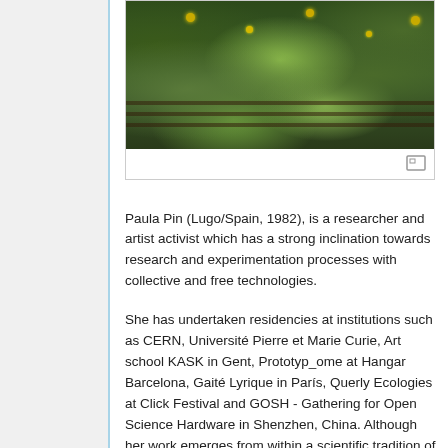[Figure (photo): A photograph showing wooden beams or a fence structure with green plants and yellow flowers growing around it, viewed from above or at an angle. The image has a dark, lush botanical feel.]
Paula Pin (Lugo/Spain, 1982), is a researcher and artist activist which has a strong inclination towards research and experimentation processes with collective and free technologies.
She has undertaken residencies at institutions such as CERN, Université Pierre et Marie Curie, Art school KASK in Gent, Prototyp_ome at Hangar Barcelona, Gaité Lyrique in París, Querly Ecologies at Click Festival and GOSH - Gathering for Open Science Hardware in Shenzhen, China. Although her work emerges from within a scientific tradition of research and experimentation, running throughout drawing to abstract